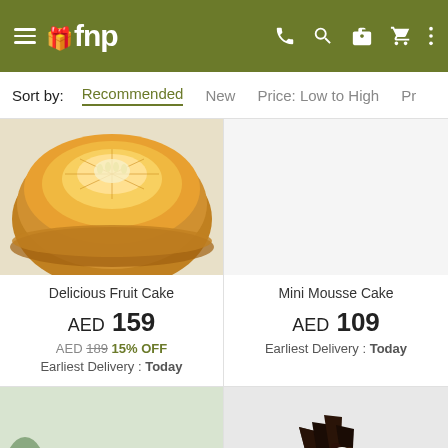fnp - navigation header with hamburger menu, logo, phone, search, gift, cart, more icons
Sort by: Recommended | New | Price: Low to High | P...
[Figure (photo): Partial top view of a melon/fruit cake on a bronze/gold plate — upper half cropped]
[Figure (photo): Mini Mousse Cake product image — mostly blank/white background visible]
Delicious Fruit Cake
AED 159
AED 189 15% OFF
Earliest Delivery : Today
Mini Mousse Cake
AED 109
Earliest Delivery : Today
[Figure (photo): Berry/raspberry layered cake on a white cake stand with green foliage decoration]
[Figure (photo): Chocolate cake with dark chocolate decorations on top, on a gold board, light background]